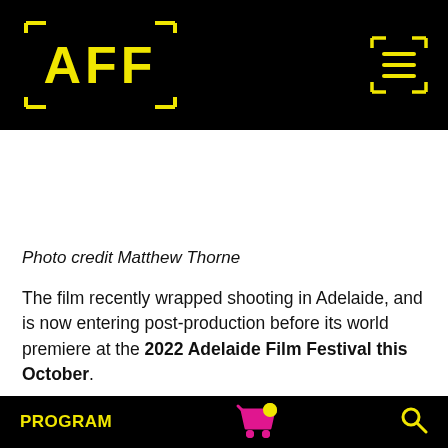[Figure (logo): AFF (Adelaide Film Festival) logo in yellow on black background with bracket/corner marks, and a hamburger menu icon top right]
Photo credit Matthew Thorne
The film recently wrapped shooting in Adelaide, and is now entering post-production before its world premiere at the 2022 Adelaide Film Festival this October.
Talk To Me is directed by twin brothers Danny and
PROGRAM  [cart icon]  [search icon]